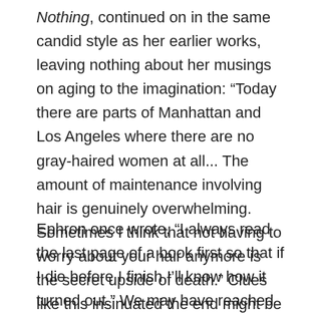Nothing, continued on in the same candid style as her earlier works, leaving nothing about her musings on aging to the imagination: “Today there are parts of Manhattan and Los Angeles where there are no gray-haired women at all... The amount of maintenance involving hair is genuinely overwhelming. Sometimes I think that not having to worry about your hair anymore is the secret upside of death.” Clues like this insinuated the end might be near, but for the rest of us it still came far too soon.
Ephron once wrote, “I always read the last page of a book first so that if I die before I finish I’ll know how it turned out.” We may have reached Nora’s last page, but I suspect and hope that